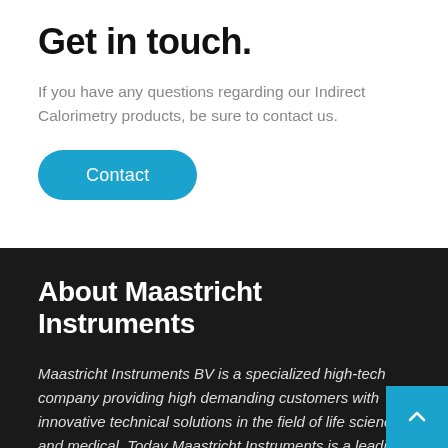Get in touch.
If you have any questions regarding our Indirect Calorimetry products, be sure to contact us.
Contact
About Maastricht Instruments
Maastricht Instruments BV is a specialized high-tech company providing high demanding customers with innovative technical solutions in the field of life science and medical. Today Maastricht Instruments is a leading